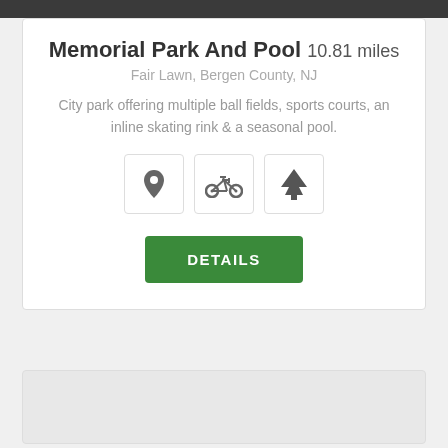[Figure (screenshot): Dark image bar at top of page]
Memorial Park And Pool 10.81 miles
Fair Lawn, Bergen County, NJ
City park offering multiple ball fields, sports courts, an inline skating rink & a seasonal pool.
[Figure (illustration): Three icon boxes showing a map pin, bicycle, and tree icons]
DETAILS
[Figure (screenshot): Gray placeholder card below main card]
[Figure (screenshot): White partial card with scroll-to-top button at bottom right]